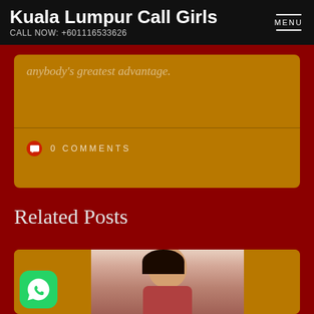Kuala Lumpur Call Girls
CALL NOW: +601116533626
anybody's greatest advantage.
0 COMMENTS
Related Posts
[Figure (photo): Woman with dark hair posing, wearing red top]